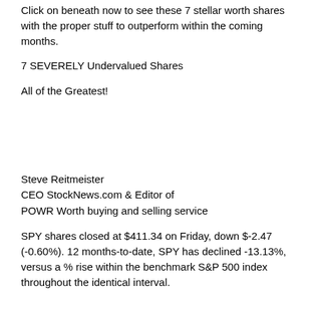Click on beneath now to see these 7 stellar worth shares with the proper stuff to outperform within the coming months.
7 SEVERELY Undervalued Shares
All of the Greatest!
Steve Reitmeister
CEO StockNews.com & Editor of
POWR Worth buying and selling service
SPY shares closed at $411.34 on Friday, down $-2.47 (-0.60%). 12 months-to-date, SPY has declined -13.13%, versus a % rise within the benchmark S&P 500 index throughout the identical interval.